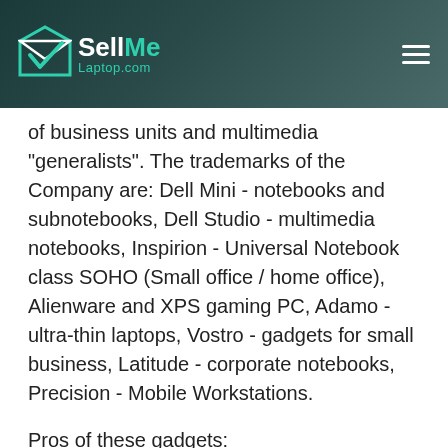SellMe Laptop.com
of business units and multimedia "generalists". The trademarks of the Company are: Dell Mini - notebooks and subnotebooks, Dell Studio - multimedia notebooks, Inspirion - Universal Notebook class SOHO (Small office / home office), Alienware and XPS gaming PC, Adamo - ultra-thin laptops, Vostro - gadgets for small business, Latitude - corporate notebooks, Precision - Mobile Workstations.
Pros of these gadgets:
Unique design - you can see all varieties of design in the company. They develop the design of their machines according to the buyer preferences.